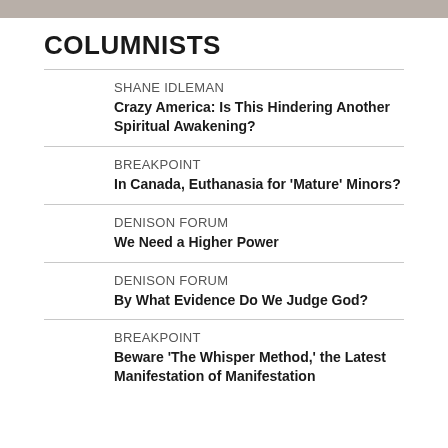[Figure (other): Decorative gray header bar at top of page]
COLUMNISTS
SHANE IDLEMAN
Crazy America: Is This Hindering Another Spiritual Awakening?
BREAKPOINT
In Canada, Euthanasia for 'Mature' Minors?
DENISON FORUM
We Need a Higher Power
DENISON FORUM
By What Evidence Do We Judge God?
BREAKPOINT
Beware 'The Whisper Method,' the Latest Manifestation of Manifestation